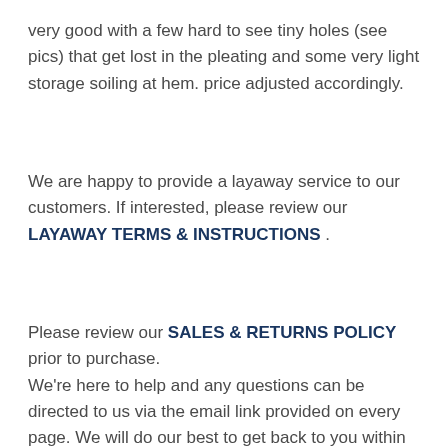very good with a few hard to see tiny holes (see pics) that get lost in the pleating and some very light storage soiling at hem. price adjusted accordingly.
We are happy to provide a layaway service to our customers. If interested, please review our LAYAWAY TERMS & INSTRUCTIONS .
Please review our SALES & RETURNS POLICY prior to purchase. We're here to help and any questions can be directed to us via the email link provided on every page. We will do our best to get back to you within 24 hours.